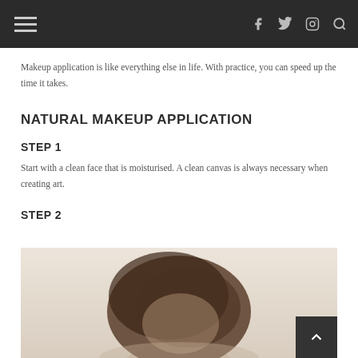Navigation header with hamburger menu and social icons (f, twitter, instagram, search)
Makeup application is like everything else in life. With practice, you can speed up the time it takes.
NATURAL MAKEUP APPLICATION
STEP 1
Start with a clean face that is moisturised. A clean canvas is always necessary when creating art.
STEP 2
[Figure (photo): Photo of a person with dark hair, shown from above/side angle, against a beige/cream background]